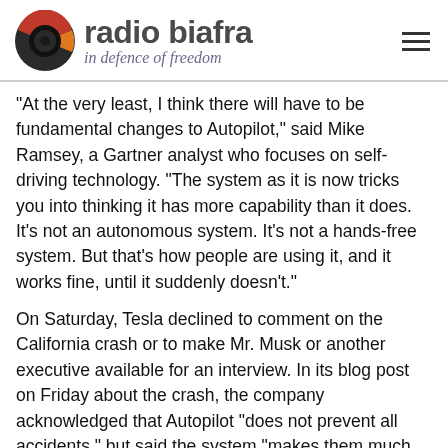radio biafra — in defence of freedom
“At the very least, I think there will have to be fundamental changes to Autopilot,” said Mike Ramsey, a Gartner analyst who focuses on self-driving technology. “The system as it is now tricks you into thinking it has more capability than it does. It’s not an autonomous system. It’s not a hands-free system. But that’s how people are using it, and it works fine, until it suddenly doesn’t.”
On Saturday, Tesla declined to comment on the California crash or to make Mr. Musk or another executive available for an interview. In its blog post on Friday about the crash, the company acknowledged that Autopilot “does not prevent all accidents,” but said the system “makes them much less likely to occur” and “unequivocally makes the world safer.”
For the company, the significance of the crash goes beyond Autopilot. Tesla is already reeling from a barrage of negative news. The value of its stock and bonds has plunged amid increasing concerns about how much cash it is using up and the repeated delays in the production of the Model 3, a